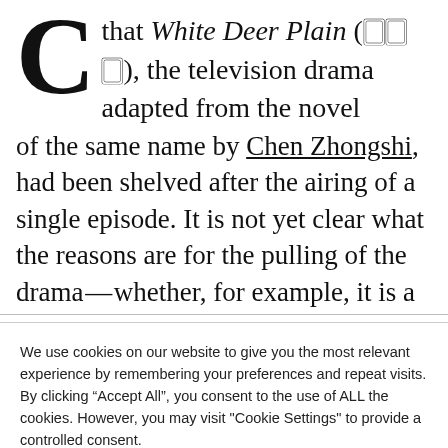C that White Deer Plain (🀆🀆🀆), the television drama adapted from the novel of the same name by Chen Zhongshi, had been shelved after the airing of a single episode. It is not yet clear what the reasons are for the pulling of the drama—whether, for example, it is a suspension ordered by the authorities, or a decision taken by the show's distributors—and
We use cookies on our website to give you the most relevant experience by remembering your preferences and repeat visits. By clicking "Accept All", you consent to the use of ALL the cookies. However, you may visit "Cookie Settings" to provide a controlled consent.